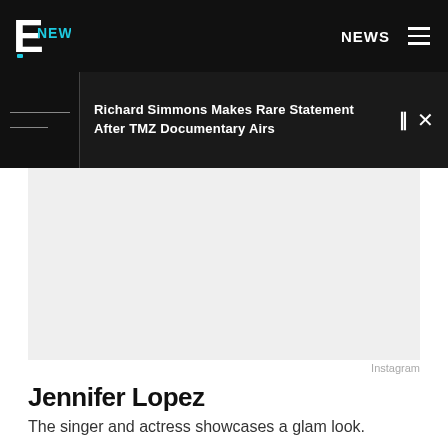E! NEWS | NEWS
Richard Simmons Makes Rare Statement After TMZ Documentary Airs
[Figure (photo): Gray placeholder photo area representing a photo of Jennifer Lopez]
Instagram
Jennifer Lopez
The singer and actress showcases a glam look.